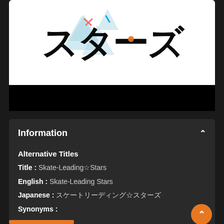[Figure (illustration): Anime title logo for Skate-Leading Stars showing large Japanese calligraphy characters with decorative geometric light-blue triangles and colorful accent marks on a white background, with a black bar below.]
Information
Alternative Titles
Title : Skate-Leading☆Stars
English : Skate-Leading Stars
Japanese : スケートリーディング☆スターズ
Synonyms :